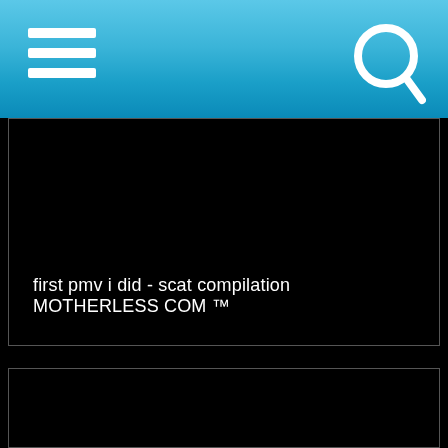[Figure (screenshot): Mobile app header bar with blue gradient background, hamburger menu icon on left, search (magnifying glass) icon on top right]
[Figure (screenshot): Black video thumbnail box with white text title: first pmv i did - scat compilation MOTHERLESS COM ™]
[Figure (screenshot): Black video thumbnail box, no content visible]